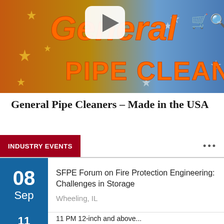[Figure (screenshot): General Pipe Cleaners promotional video thumbnail with orange 'PIPE CLEANERS' text on a patriotic red, white, blue stars background with a play button overlay and shopping cart/search icons]
General Pipe Cleaners – Made in the USA
INDUSTRY EVENTS
SFPE Forum on Fire Protection Engineering: Challenges in Storage
Wheeling, IL
11 PM 12-inch and above...